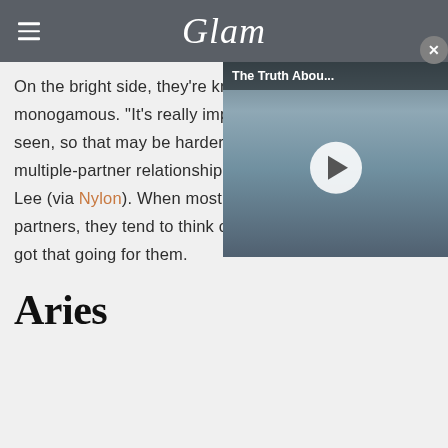Glam
On the bright side, they're kr monogamous. "It's really impo seen, so that may be harder multiple-partner relationship Lee (via Nylon). When most people think of long-term partners, they tend to think of monogamy, so they've got that going for them.
[Figure (screenshot): Video overlay showing 'The Truth Abou...' title with two people smiling and a play button]
Aries